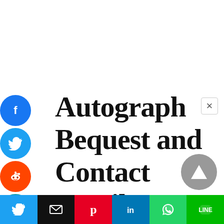Autograph Bequest and Contact Details
[Figure (infographic): Social media sharing sidebar with circular icons: Facebook (blue), Twitter (blue), Reddit (orange), LinkedIn (teal), Pinterest (red), MeWe (teal), and a partial orange circle at bottom. Also a close (×) button top-right, a scroll-to-top grey arrow button bottom-right, and a bottom share bar with Twitter, Email, Pinterest, LinkedIn, WhatsApp, and LINE buttons.]